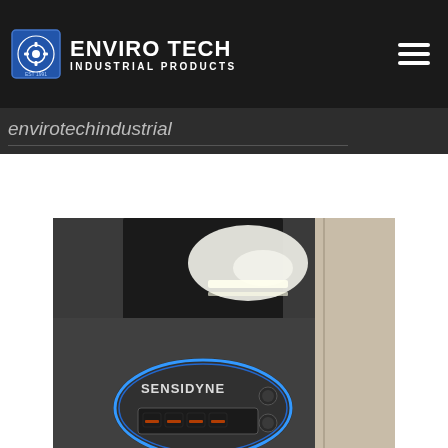ENVIRO TECH INDUSTRIAL PRODUCTS
envirotechindustrial
[Figure (photo): Close-up photo of an industrial gas detection device or monitor showing a circular control panel with blue ring accent, a digital LED display showing dashes, and a brand name 'Sensidyne' on the face. The device has a dark grey/black finish with control buttons on the right side. The upper portion shows a reflective black panel with light reflection visible.]